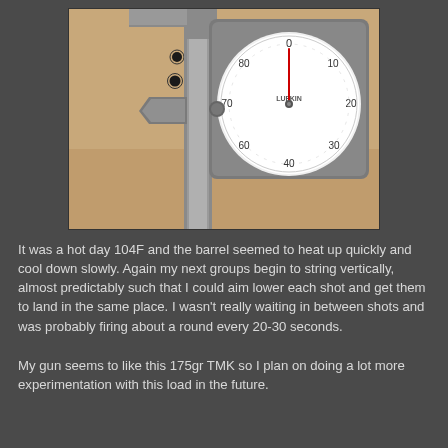[Figure (photo): A photograph showing bullet holes in a paper target being measured with a dial caliper. The caliper has a white round dial face with black numerals. The target shows several bullet holes in a vertical string pattern.]
It was a hot day 104F and the barrel seemed to heat up quickly and cool down slowly. Again my next groups begin to string vertically, almost predictably such that I could aim lower each shot and get them to land in the same place. I wasn't really waiting in between shots and was probably firing about a round every 20-30 seconds.
My gun seems to like this 175gr TMK so I plan on doing a lot more experimentation with this load in the future.